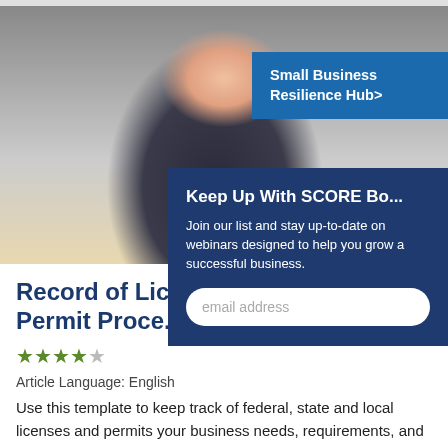[Figure (photo): Woman writing at a desk with pen on paper, wearing dark vest over yellow top, close-up view]
Small Business Resilience Hub>
Keep Up With SCORE Bo...
Join our list and stay up-to-date on webinars designed to help you grow a successful business.
email address
Record of Lice... Permit Proce...
★★★★☆
Article Language: English
Use this template to keep track of federal, state and local licenses and permits your business needs, requirements, and progress towards receiving them.
Read more >